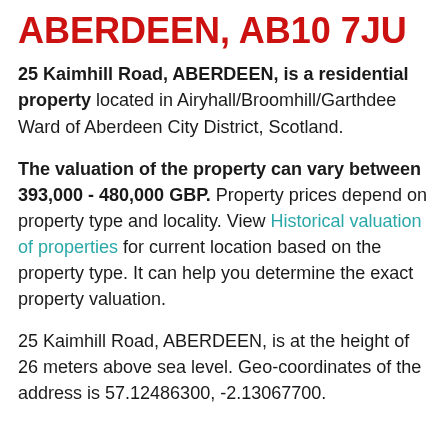ABERDEEN, AB10 7JU
25 Kaimhill Road, ABERDEEN, is a residential property located in Airyhall/Broomhill/Garthdee Ward of Aberdeen City District, Scotland.
The valuation of the property can vary between 393,000 - 480,000 GBP. Property prices depend on property type and locality. View Historical valuation of properties for current location based on the property type. It can help you determine the exact property valuation.
25 Kaimhill Road, ABERDEEN, is at the height of 26 meters above sea level. Geo-coordinates of the address is 57.12486300, -2.13067700.